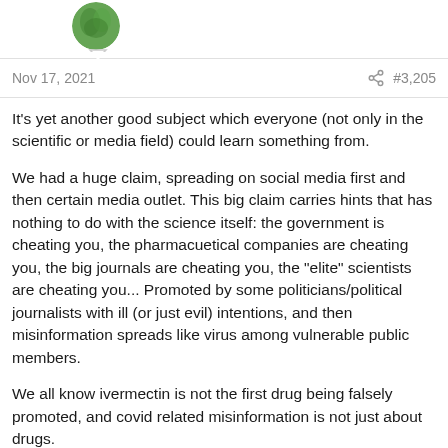[Figure (photo): Circular avatar photo with green leafy background, partially visible at top of page]
Nov 17, 2021  #3,205
It's yet another good subject which everyone (not only in the scientific or media field) could learn something from.
We had a huge claim, spreading on social media first and then certain media outlet. This big claim carries hints that has nothing to do with the science itself: the government is cheating you, the pharmacuetical companies are cheating you, the big journals are cheating you, the "elite" scientists are cheating you... Promoted by some politicians/political journalists with ill (or just evil) intentions, and then misinformation spreads like virus among vulnerable public members.
We all know ivermectin is not the first drug being falsely promoted, and covid related misinformation is not just about drugs.
The problem is, more and more false/fake information pretends to be good science data, and it pretends better and